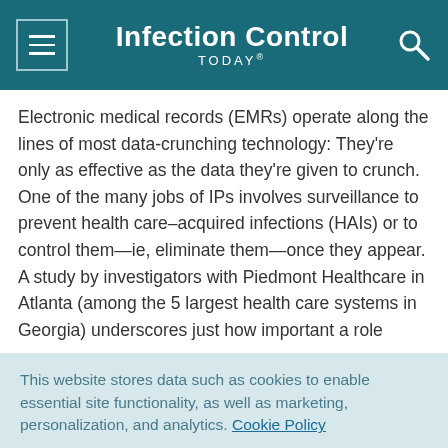Infection Control TODAY®
Electronic medical records (EMRs) operate along the lines of most data-crunching technology: They're only as effective as the data they're given to crunch. One of the many jobs of IPs involves surveillance to prevent health care–acquired infections (HAIs) or to control them—ie, eliminate them—once they appear. A study by investigators with Piedmont Healthcare in Atlanta (among the 5 largest health care systems in Georgia) underscores just how important a role
This website stores data such as cookies to enable essential site functionality, as well as marketing, personalization, and analytics. Cookie Policy
Accept
Deny